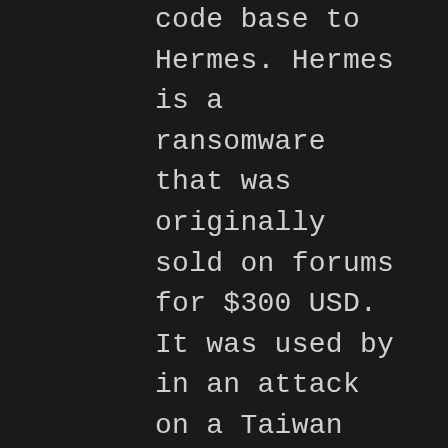code base to Hermes. Hermes is a ransomware that was originally sold on forums for $300 USD. It was used by in an attack on a Taiwan Bank with its attackers attributed to North Korea. Researchers from Crowdstrike believe that the actors of Ryuk originate from Russia. It apparently contains code that would not encrypt systems with languages set to Russian, Ukrainian, or Belarusian. According to Crowdstrike,